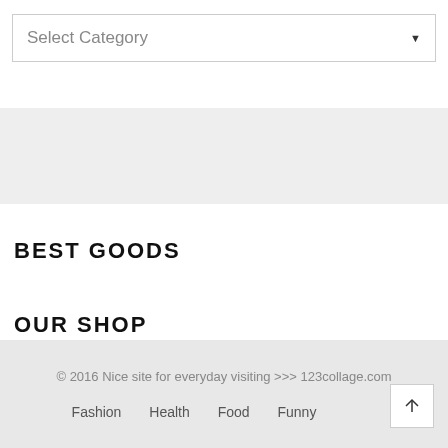[Figure (screenshot): Dropdown select box labeled 'Select Category' with a down arrow on the right]
[Figure (other): Gray horizontal banner/advertisement area]
BEST GOODS
OUR SHOP
© 2016 Nice site for everyday visiting >>> 123collage.com
Fashion   Health   Food   Funny